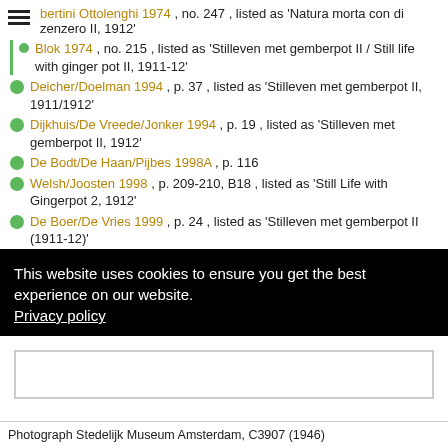bertini Ottolenghi 1974, no. 247, listed as 'Natura morta con di zenzero II, 1912'
Blok 1974, no. 215, listed as 'Stilleven met gemberpot II / Still life with ginger pot II, 1911-12'
Deicher/Doelman 1994, p. 37, listed as 'Stilleven met gemberpot II, 1911/1912'
Dijkhuis/De Vreede/Jonker 1994, p. 19, listed as 'Stilleven met gemberpot II, 1912'
De Bodt/De Haan/Pijbes 1998A, p. 116
Welsh/Joosten 1998, p. 209-210, B18, listed as 'Still Life with Gingerpot 2, 1912'
De Boer/De Vries 1999, p. 24, listed as 'Stilleven met gemberpot II (1911-12)'
Golding 2000, p. 18, listed as 'Still Life with Ginger Pot II, 1911-12'
Stap 2011, p. 61, listed as 'Stilleven met Gemberpot 2, 1912'
This website uses cookies to ensure you get the best experience on our website. Privacy policy
Ok
Photograph Stedelijk Museum Amsterdam, C3907 (1946)